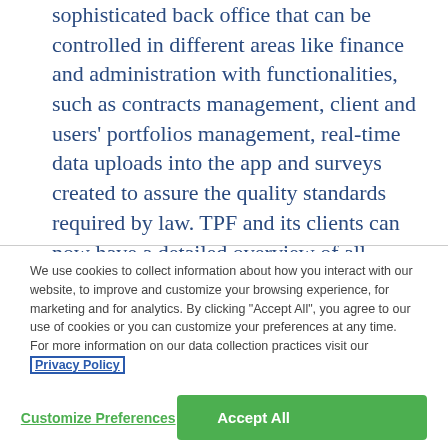sophisticated back office that can be controlled in different areas like finance and administration with functionalities, such as contracts management, client and users' portfolios management, real-time data uploads into the app and surveys created to assure the quality standards required by law. TPF and its clients can now have a detailed overview of all construction sites status, projects in real-time or in a map view, and be aware of all work safety techniques to have in the field.
We use cookies to collect information about how you interact with our website, to improve and customize your browsing experience, for marketing and for analytics. By clicking "Accept All", you agree to our use of cookies or you can customize your preferences at any time. For more information on our data collection practices visit our Privacy Policy
Customize Preferences
Accept All